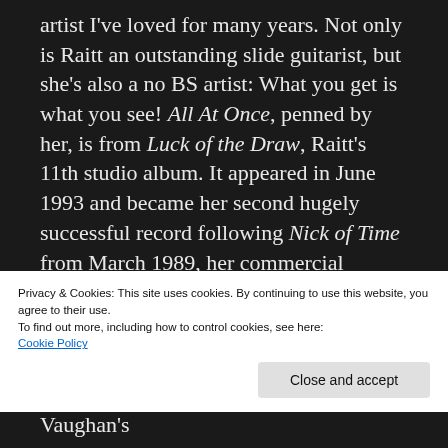artist I've loved for many years. Not only is Raitt an outstanding slide guitarist, but she's also a no BS artist: What you get is what you see! All At Once, penned by her, is from Luck of the Draw, Raitt's 11th studio album. It appeared in June 1993 and became her second hugely successful record following Nick of Time from March 1989, her commercial breakthrough that had come after years of personal and professional struggles. While unlike Nick of Time it didn't top the U.S. charts (but reached a...
Privacy & Cookies: This site uses cookies. By continuing to use this website, you agree to their use.
To find out more, including how to control cookies, see here:
Cookie Policy
Close and accept
her to stop drinking. Apparently, Vaughan's